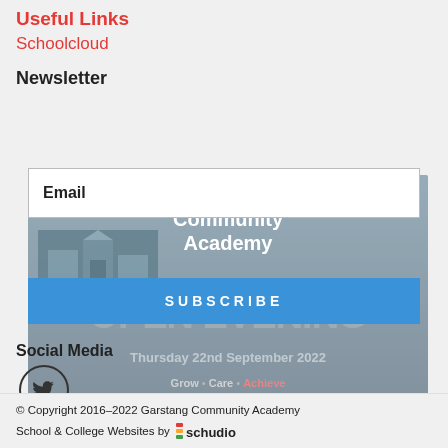Useful Links
Schoolcloud
Newsletter
Email
SUBSCRIBE
[Figure (illustration): Garstang Community Academy open evening poster with school image, 'OPEN EVENING' text, 'Thursday 22nd September 2022', tagline 'Grow • Care • Achieve', and website www.garstangcommunityacademy.com]
Social Media
[Figure (logo): Twitter bird icon in a circle]
© Copyright 2016–2022 Garstang Community Academy School & College Websites by schudio